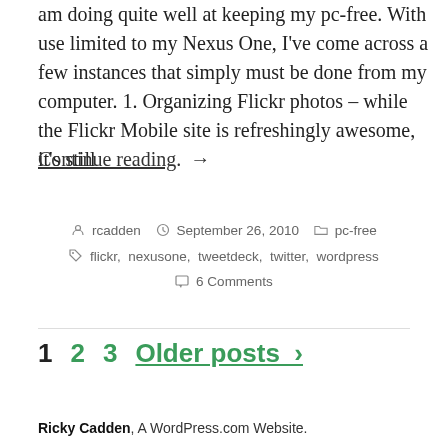am doing quite well at keeping my pc-free. With use limited to my Nexus One, I've come across a few instances that simply must be done from my computer. 1. Organizing Flickr photos – while the Flickr Mobile site is refreshingly awesome, it's still
Continue reading. →
rcadden   September 26, 2010   pc-free
flickr, nexusone, tweetdeck, twitter, wordpress
6 Comments
1   2   3   Older posts  >
Ricky Cadden, A WordPress.com Website.